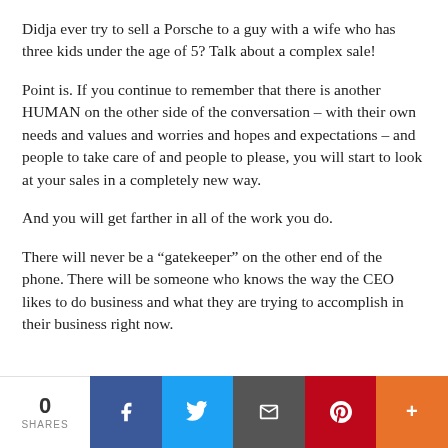Didja ever try to sell a Porsche to a guy with a wife who has three kids under the age of 5? Talk about a complex sale!
Point is. If you continue to remember that there is another HUMAN on the other side of the conversation – with their own needs and values and worries and hopes and expectations – and people to take care of and people to please, you will start to look at your sales in a completely new way.
And you will get farther in all of the work you do.
There will never be a “gatekeeper” on the other end of the phone. There will be someone who knows the way the CEO likes to do business and what they are trying to accomplish in their business right now.
0 SHARES | Facebook | Twitter | Email | Pinterest | More